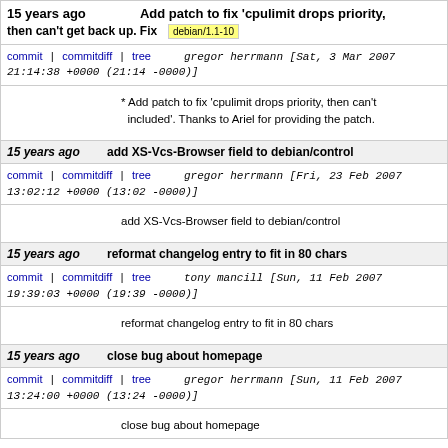15 years ago  Add patch to fix 'cpulimit drops priority, then can't get back up. Fix  debian/1.1-10
commit | commitdiff | tree  gregor herrmann [Sat, 3 Mar 2007 21:14:38 +0000 (21:14 -0000)]
* Add patch to fix 'cpulimit drops priority, then can't included'. Thanks to Ariel for providing the patch.
15 years ago  add XS-Vcs-Browser field to debian/control
commit | commitdiff | tree  gregor herrmann [Fri, 23 Feb 2007 13:02:12 +0000 (13:02 -0000)]
add XS-Vcs-Browser field to debian/control
15 years ago  reformat changelog entry to fit in 80 chars
commit | commitdiff | tree  tony mancill [Sun, 11 Feb 2007 19:39:03 +0000 (19:39 -0000)]
reformat changelog entry to fit in 80 chars
15 years ago  close bug about homepage
commit | commitdiff | tree  gregor herrmann [Sun, 11 Feb 2007 13:24:00 +0000 (13:24 -0000)]
close bug about homepage